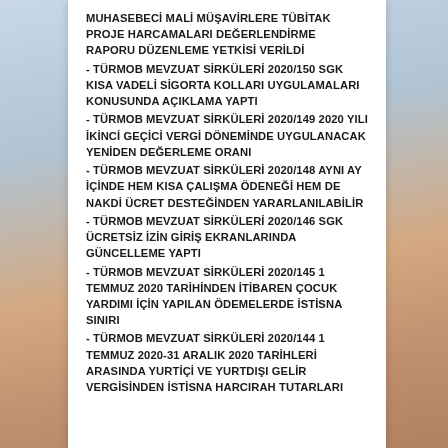MUHASEBECİ MALİ MÜŞAVİRLERE TÜBİTAK PROJE HARCAMALARI DEĞERLENDİRME RAPORU DÜZENLEME YETKİSİ VERİLDİ
- TÜRMOB MEVZUAT SİRKÜLERİ 2020/150 SGK KISA VADELİ SİGORTA KOLLARI UYGULAMALARI KONUSUNDA AÇIKLAMA YAPTI
- TÜRMOB MEVZUAT SİRKÜLERİ 2020/149 2020 YILI İKİNCİ GEÇİCİ VERGİ DÖNEMİNDE UYGULANACAK YENİDEN DEĞERLEME ORANI
- TÜRMOB MEVZUAT SİRKÜLERİ 2020/148 AYNI AY İÇİNDE HEM KISA ÇALIŞMA ÖDENEĞİ HEM DE NAKDİ ÜCRET DESTEĞİNDEN YARARLANILABİLİR
- TÜRMOB MEVZUAT SİRKÜLERİ 2020/146 SGK ÜCRETSİZ İZİN GİRİŞ EKRANLARINDA GÜNCELLEME YAPTI
- TÜRMOB MEVZUAT SİRKÜLERİ 2020/145 1 TEMMUZ 2020 TARİHİNDEN İTİBAREN ÇOCUK YARDIMI İÇİN YAPILAN ÖDEMELERDE İSTİSNA SINIRI
- TÜRMOB MEVZUAT SİRKÜLERİ 2020/144 1 TEMMUZ 2020-31 ARALIK 2020 TARİHLERİ ARASINDA YURTİÇİ VE YURTDIŞI GELİR VERGİSİNDEN İSTİSNA HARCIRAH TUTARLARI